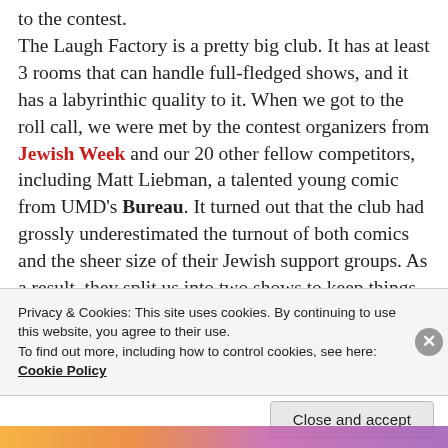to the contest. The Laugh Factory is a pretty big club. It has at least 3 rooms that can handle full-fledged shows, and it has a labyrinthic quality to it. When we got to the roll call, we were met by the contest organizers from Jewish Week and our 20 other fellow competitors, including Matt Liebman, a talented young comic from UMD's Bureau. It turned out that the club had grossly underestimated the turnout of both comics and the sheer size of their Jewish support groups. As a result, they split us into two shows to keep things manageable. The top three from each show would
Privacy & Cookies: This site uses cookies. By continuing to use this website, you agree to their use. To find out more, including how to control cookies, see here: Cookie Policy
Close and accept